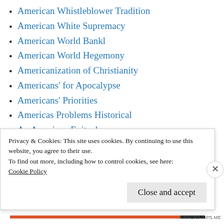American Whistleblower Tradition
American White Supremacy
American World Bankl
American World Hegemony
Americanization of Christianity
Americans' for Apocalypse
Americans' Priorities
Americas Problems Historical
An American Epitaph
Another Shithole Country
Anti-Communism Rules
Privacy & Cookies: This site uses cookies. By continuing to use this website, you agree to their use.
To find out more, including how to control cookies, see here:
Cookie Policy
Close and accept